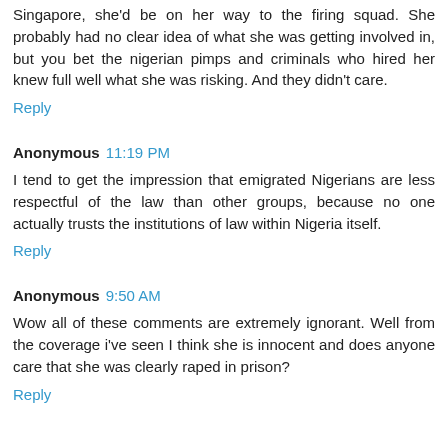Singapore, she'd be on her way to the firing squad. She probably had no clear idea of what she was getting involved in, but you bet the nigerian pimps and criminals who hired her knew full well what she was risking. And they didn't care.
Reply
Anonymous 11:19 PM
I tend to get the impression that emigrated Nigerians are less respectful of the law than other groups, because no one actually trusts the institutions of law within Nigeria itself.
Reply
Anonymous 9:50 AM
Wow all of these comments are extremely ignorant. Well from the coverage i've seen I think she is innocent and does anyone care that she was clearly raped in prison?
Reply